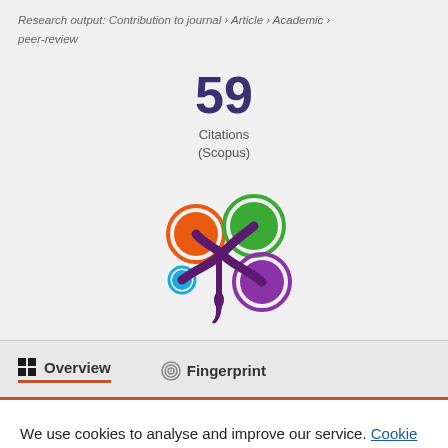Research output: Contribution to journal › Article › Academic › peer-review
59
Citations
(Scopus)
[Figure (logo): Altmetric/Pure butterfly logo with orange, green, blue, and purple circles connected by a purple splat shape]
Overview
Fingerprint
We use cookies to analyse and improve our service. Cookie Policy